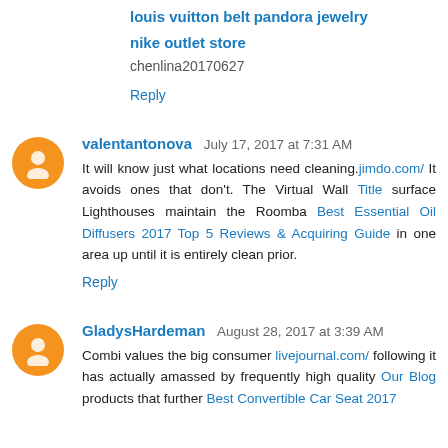louis vuitton belt
pandora jewelry
nike outlet store
chenlina20170627
Reply
valentantonova  July 17, 2017 at 7:31 AM
It will know just what locations need cleaning.jimdo.com/ It avoids ones that don't. The Virtual Wall Title surface Lighthouses maintain the Roomba Best Essential Oil Diffusers 2017 Top 5 Reviews & Acquiring Guide in one area up until it is entirely clean prior.
Reply
GladysHardeman  August 28, 2017 at 3:39 AM
Combi values the big consumer livejournal.com/ following it has actually amassed by frequently high quality Our Blog products that further Best Convertible Car Seat 2017